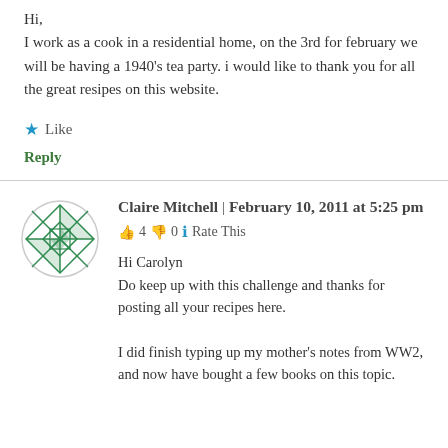Hi,
I work as a cook in a residential home, on the 3rd for february we will be having a 1940's tea party. i would like to thank you for all the great resipes on this website.
★ Like
Reply
Claire Mitchell | February 10, 2011 at 5:25 pm
👍 4 👎 0 ℹ Rate This
Hi Carolyn
Do keep up with this challenge and thanks for posting all your recipes here.

I did finish typing up my mother's notes from WW2, and now have bought a few books on this topic.